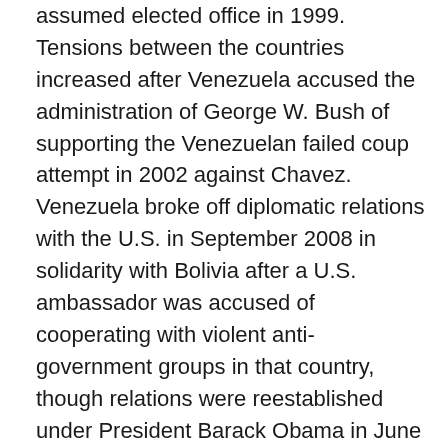assumed elected office in 1999. Tensions between the countries increased after Venezuela accused the administration of George W. Bush of supporting the Venezuelan failed coup attempt in 2002 against Chavez. Venezuela broke off diplomatic relations with the U.S. in September 2008 in solidarity with Bolivia after a U.S. ambassador was accused of cooperating with violent anti-government groups in that country, though relations were reestablished under President Barack Obama in June 2009. Despite Venezuela's stated desire for improved relations with the U.S. and its appeals for mutual respect, tensions between both nations are still high as of 2012 due to continuity in U.S. foreign policy under Bush and Obama. In February 2014, Venezuelan Government ordered three American diplomats to leave the country on charges of promoting violence.